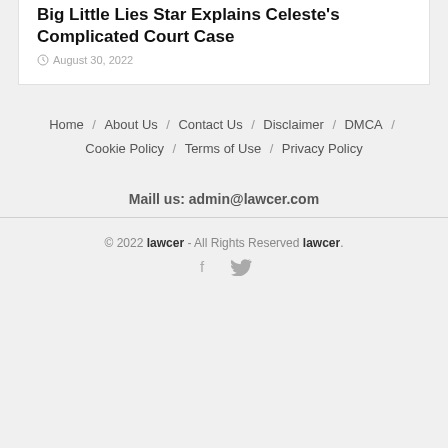Big Little Lies Star Explains Celeste's Complicated Court Case
August 30, 2022
Home / About Us / Contact Us / Disclaimer / DMCA / Cookie Policy / Terms of Use / Privacy Policy
Maill us: admin@lawcer.com
© 2022 lawcer - All Rights Reserved lawcer.